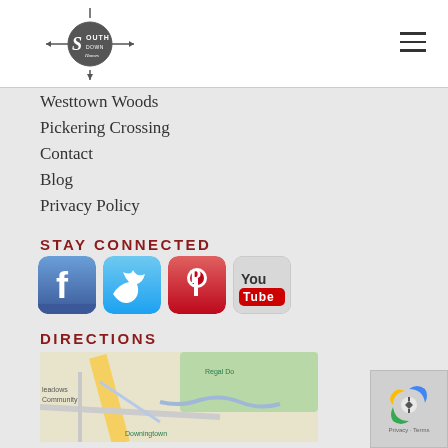Southdown Homes logo and navigation hamburger menu
Westtown Woods
Pickering Crossing
Contact
Blog
Privacy Policy
STAY CONNECTED
[Figure (logo): Social media icons: Facebook, Twitter, Pinterest, YouTube]
DIRECTIONS
[Figure (map): Partial Google Map showing Meadows Community, Regal Dr, Downingtown area with roads and green spaces]